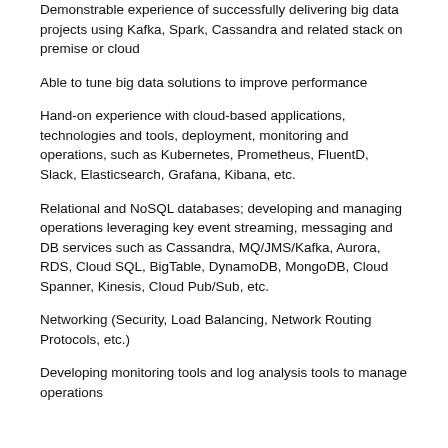Demonstrable experience of successfully delivering big data projects using Kafka, Spark, Cassandra and related stack on premise or cloud
Able to tune big data solutions to improve performance
Hand-on experience with cloud-based applications, technologies and tools, deployment, monitoring and operations, such as Kubernetes, Prometheus, FluentD, Slack, Elasticsearch, Grafana, Kibana, etc.
Relational and NoSQL databases; developing and managing operations leveraging key event streaming, messaging and DB services such as Cassandra, MQ/JMS/Kafka, Aurora, RDS, Cloud SQL, BigTable, DynamoDB, MongoDB, Cloud Spanner, Kinesis, Cloud Pub/Sub, etc.
Networking (Security, Load Balancing, Network Routing Protocols, etc.)
Developing monitoring tools and log analysis tools to manage operations